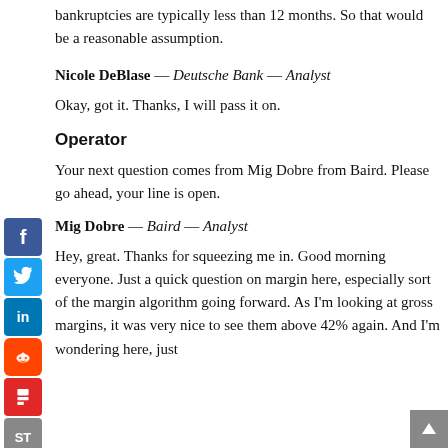bankruptcies are typically less than 12 months. So that would be a reasonable assumption.
Nicole DeBlase — Deutsche Bank — Analyst
Okay, got it. Thanks, I will pass it on.
Operator
Your next question comes from Mig Dobre from Baird. Please go ahead, your line is open.
Mig Dobre — Baird — Analyst
Hey, great. Thanks for squeezing me in. Good morning everyone. Just a quick question on margin here, especially sort of the margin algorithm going forward. As I'm looking at gross margins, it was very nice to see them above 42% again. And I'm wondering here, just